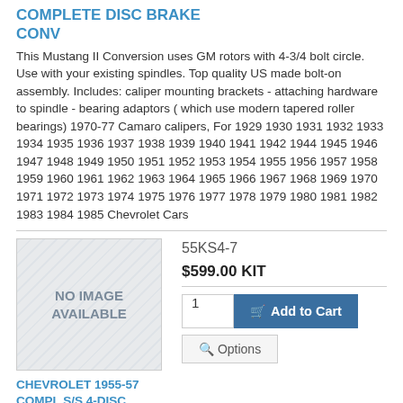COMPLETE DISC BRAKE CONV
This Mustang II Conversion uses GM rotors with 4-3/4 bolt circle. Use with your existing spindles. Top quality US made bolt-on assembly. Includes: caliper mounting brackets - attaching hardware to spindle - bearing adaptors ( which use modern tapered roller bearings) 1970-77 Camaro calipers, For 1929 1930 1931 1932 1933 1934 1935 1936 1937 1938 1939 1940 1941 1942 1944 1945 1946 1947 1948 1949 1950 1951 1952 1953 1954 1955 1956 1957 1958 1959 1960 1961 1962 1963 1964 1965 1966 1967 1968 1969 1970 1971 1972 1973 1974 1975 1976 1977 1978 1979 1980 1981 1982 1983 1984 1985 Chevrolet Cars
[Figure (photo): No image available placeholder for product]
CHEVROLET 1955-57 COMPL S/S 4-DISC BRAKE KIT-7"
55KS4-7
$599.00 KIT
KIT INCLUDES: 7" BOOSTER, MASTER CYLINDER AND 4-